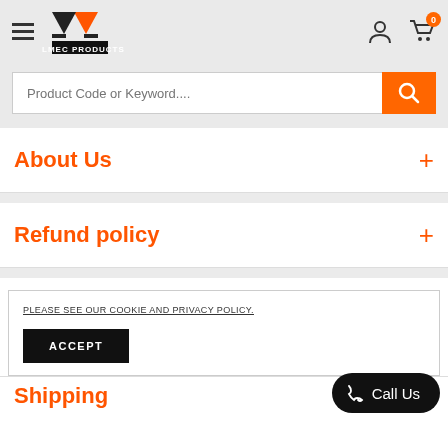[Figure (logo): Almec Products logo with hamburger menu and user/cart icons in header]
Product Code or Keyword....
About Us
Refund policy
PLEASE SEE OUR COOKIE AND PRIVACY POLICY.
ACCEPT
Call Us
Shipping